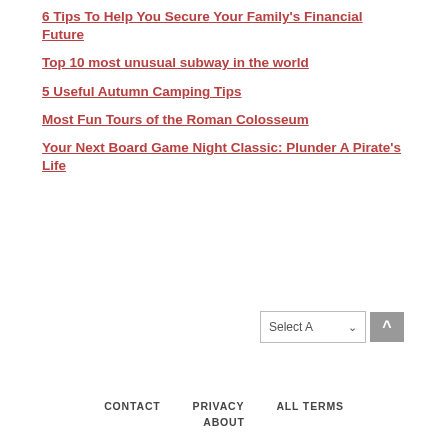6 Tips To Help You Secure Your Family's Financial Future
Top 10 most unusual subway in the world
5 Useful Autumn Camping Tips
Most Fun Tours of the Roman Colosseum
Your Next Board Game Night Classic: Plunder A Pirate's Life
CONTACT   PRIVACY   ALL TERMS   ABOUT